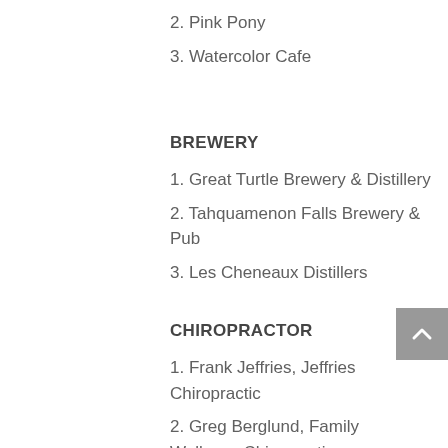2. Pink Pony
3. Watercolor Cafe
BREWERY
1. Great Turtle Brewery & Distillery
2. Tahquamenon Falls Brewery & Pub
3. Les Cheneaux Distillers
CHIROPRACTOR
1. Frank Jeffries, Jeffries Chiropractic
2. Greg Berglund, Family Wellness Chiropractic
3. Brian Kulbieda, Axis Chiropractic PC
COFFEE SHOP